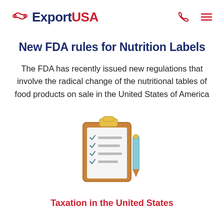ExportUSA
New FDA rules for Nutrition Labels
The FDA has recently issued new regulations that involve the radical change of the nutritional tables of food products on sale in the United States of America
[Figure (illustration): Clipboard with checklist and pen icon illustration]
Taxation in the United States